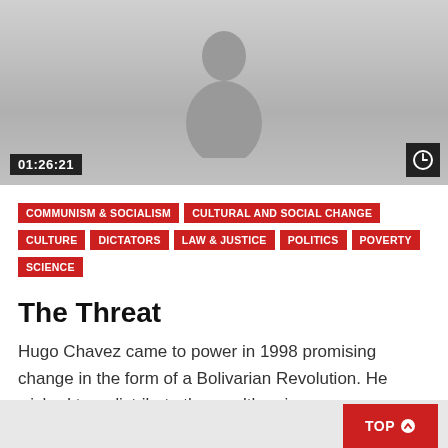[Figure (screenshot): Video thumbnail showing a silhouette of a person against a gray background, with timestamp 01:26:21 in bottom-left and a watch-later icon in bottom-right]
COMMUNISM & SOCIALISM
CULTURAL AND SOCIAL CHANGE
CULTURE
DICTATORS
LAW & JUSTICE
POLITICS
POVERTY
SCIENCE
The Threat
Hugo Chavez came to power in 1998 promising change in the form of a Bolivarian Revolution. He wished to redistribute the wealth gain...
0  1.1K  0  0